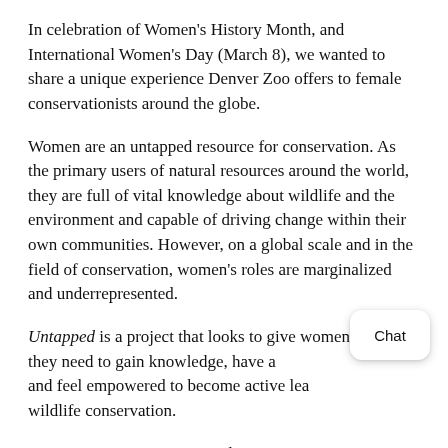In celebration of Women's History Month, and International Women's Day (March 8), we wanted to share a unique experience Denver Zoo offers to female conservationists around the globe.
Women are an untapped resource for conservation. As the primary users of natural resources around the world, they are full of vital knowledge about wildlife and the environment and capable of driving change within their own communities. However, on a global scale and in the field of conservation, women's roles are marginalized and underrepresented.
Untapped is a project that looks to give women the tools they need to gain knowledge, have a voice, and feel empowered to become active leaders in wildlife conservation.
In 2020, Denver Zoo received a generous